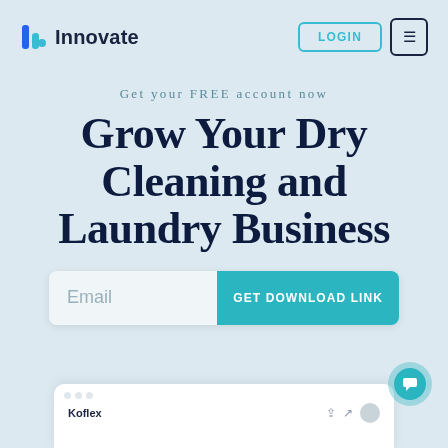Innovate — LOGIN
Get your FREE account now
Grow Your Dry Cleaning and Laundry Business
Email  GET DOWNLOAD LINK
[Figure (screenshot): App interface preview showing browser window with 'Koflex' brand name and user icons at the bottom of the page]